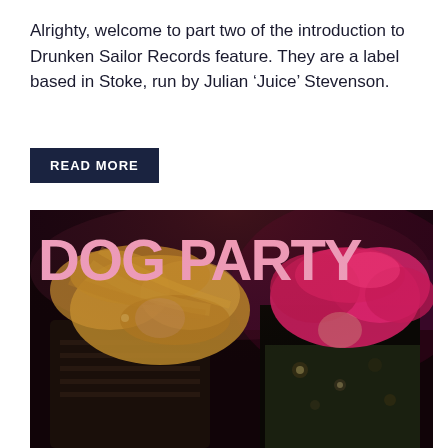Alrighty, welcome to part two of the introduction to Drunken Sailor Records feature. They are a label based in Stoke, run by Julian ‘Juice’ Stevenson.
READ MORE
[Figure (photo): Photo of two young women headbanging on stage under a 'DOG PARTY' sign in pink letters on a dark purple background. Left person has long blonde hair obscuring face, wearing striped top. Right person has bright pink/magenta hair obscuring face, wearing a floral Hawaiian shirt.]